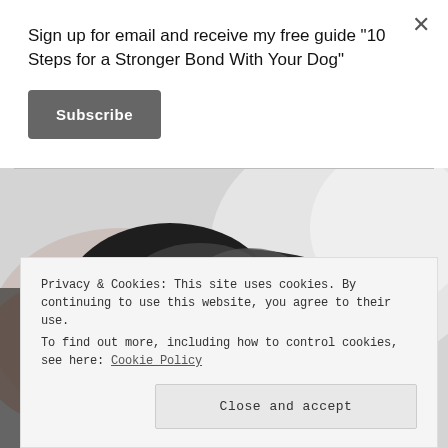Sign up for email and receive my free guide "10 Steps for a Stronger Bond With Your Dog"
Subscribe
[Figure (photo): Close-up blurry photo of a dark-furred dog, showing the top of the head and fur, with blurred light background]
Privacy & Cookies: This site uses cookies. By continuing to use this website, you agree to their use.
To find out more, including how to control cookies, see here: Cookie Policy
Close and accept